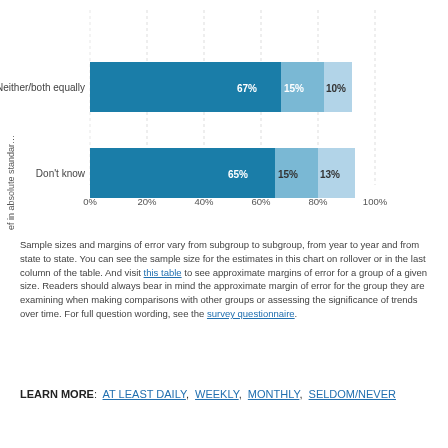[Figure (stacked-bar-chart): Belief in absolute standards]
Sample sizes and margins of error vary from subgroup to subgroup, from year to year and from state to state. You can see the sample size for the estimates in this chart on rollover or in the last column of the table. And visit this table to see approximate margins of error for a group of a given size. Readers should always bear in mind the approximate margin of error for the group they are examining when making comparisons with other groups or assessing the significance of trends over time. For full question wording, see the survey questionnaire.
LEARN MORE: AT LEAST DAILY, WEEKLY, MONTHLY, SELDOM/NEVER